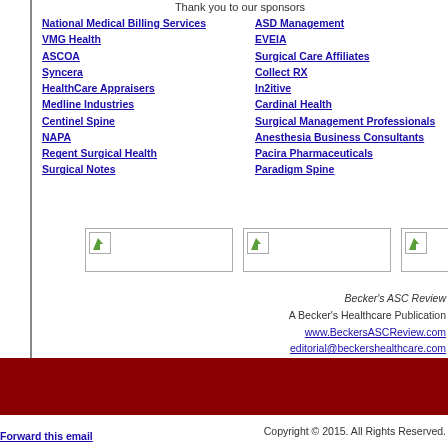Thank you to our sponsors
National Medical Billing Services
VMG Health
ASCOA
Syncera
HealthCare Appraisers
Medline Industries
Centinel Spine
NAPA
Regent Surgical Health
Surgical Notes
ASD Management
EVEIA
Surgical Care Affiliates
Collect RX
In2itive
Cardinal Health
Surgical Management Professionals
Anesthesia Business Consultants
Pacira Pharmaceuticals
Paradigm Spine
[Figure (other): Three image placeholders in a row]
Becker's ASC Review
A Becker's Healthcare Publication
www.BeckersASCReview.com
editorial@beckershealthcare.com
35 E. Wacker Drive, Suite 1782 | Chicago
Copyright © 2015. All Rights Reserved.
Forward this email